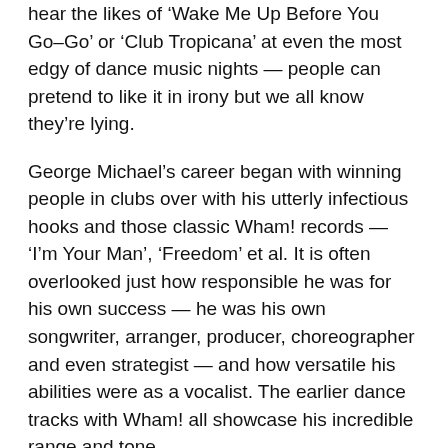hear the likes of 'Wake Me Up Before You Go-Go' or 'Club Tropicana' at even the most edgy of dance music nights — people can pretend to like it in irony but we all know they're lying.
George Michael's career began with winning people in clubs over with his utterly infectious hooks and those classic Wham! records — 'I'm Your Man', 'Freedom' et al. It is often overlooked just how responsible he was for his own success — he was his own songwriter, arranger, producer, choreographer and even strategist — and how versatile his abilities were as a vocalist. The earlier dance tracks with Wham! all showcase his incredible range and tone.
On going solo with the 'Faith' album, however, we begin to see how creative he could be in his songwriting process — creating hit dance records